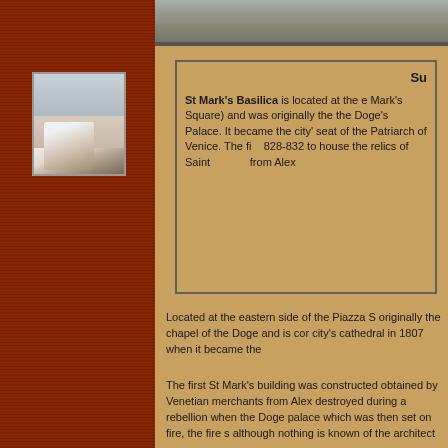[Figure (photo): Partial top image showing street/piazza scene in Venice, cropped at top of page]
[Figure (photo): Small photo collage showing St Mark's Basilica in background with a man sitting in foreground, on the left reddish-brown textured panel]
Su...
St Mark's Basilica is located at the e... Mark's Square) and was originally the... the Doge's Palace. It became the city... seat of the Patriarch of Venice. The fi... 828-832 to house the relics of Saint... from Alex...
Located at the eastern side of the Piazza S... originally the chapel of the Doge and is cor... city's cathedral in 1807 when it became the...
The first St Mark's building was constructed... obtained by Venetian merchants from Alex... destroyed during a rebellion when the Doge... palace which was then set on fire, the fire s... although nothing is known of the architect...